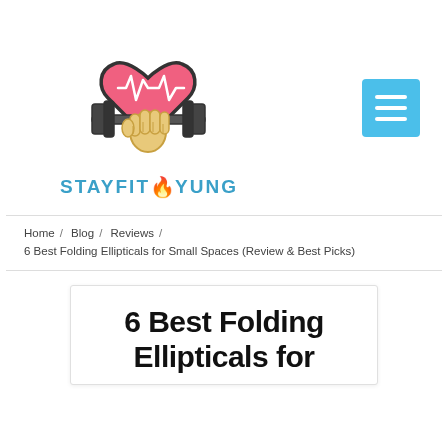[Figure (logo): StayFitAndYung logo: a heart with EKG line above a fist holding a barbell dumbbell, with 'STAYFITYUNG' text below in blue with a red flame icon]
Home / Blog / Reviews / 6 Best Folding Ellipticals for Small Spaces (Review & Best Picks)
6 Best Folding Ellipticals for